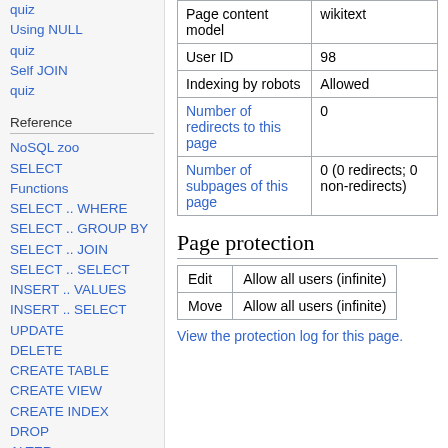quiz
Using NULL
quiz
Self JOIN
quiz
Reference
NoSQL zoo
SELECT
Functions
SELECT .. WHERE
SELECT .. GROUP BY
SELECT .. JOIN
SELECT .. SELECT
INSERT .. VALUES
INSERT .. SELECT
UPDATE
DELETE
CREATE TABLE
CREATE VIEW
CREATE INDEX
DROP
ALTER
UNION
| Property | Value |
| --- | --- |
| Page content model | wikitext |
| User ID | 98 |
| Indexing by robots | Allowed |
| Number of redirects to this page | 0 |
| Number of subpages of this page | 0 (0 redirects; 0 non-redirects) |
Page protection
| Action | Permission |
| --- | --- |
| Edit | Allow all users (infinite) |
| Move | Allow all users (infinite) |
View the protection log for this page.